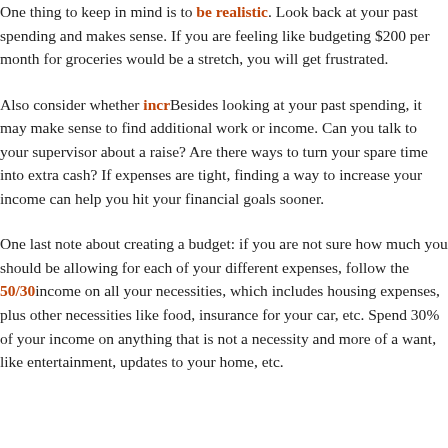One thing to keep in mind is to be realistic. Look back at your past spending and make sure your budget makes sense. If you are feeling like budgeting $200 per month for groceries would be a stretch, you will get frustrated.
Also consider whether increasing your income is possible. Besides looking at your past spending, it may make sense to find additional work or income. Can you talk to your supervisor about a raise? Are there ways to turn your spare time into extra cash? If expenses are tight, finding a way to increase your income can help you hit your financial goals sooner.
One last note about creating a budget: if you are not sure how much you should be allowing for each of your different expenses, follow the 50/30/20 rule. Spend 50% of your income on all your necessities, which includes housing expenses, plus other necessities like food, insurance for your car, etc. Spend 30% of your income on anything that is not a necessity and more of a want, like entertainment, updates to your home, etc.